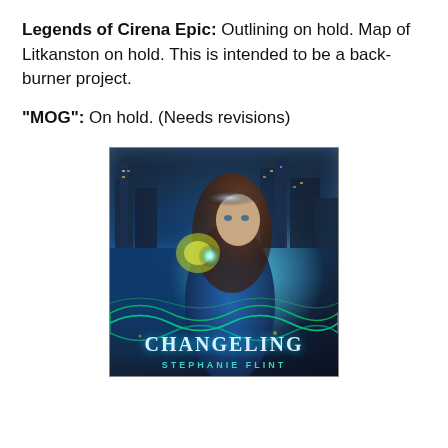Legends of Cirena Epic: Outlining on hold. Map of Litkanston on hold. This is intended to be a back-burner project.
“MOG”: On hold. (Needs revisions)
[Figure (illustration): Book cover for 'Changeling' by Stephanie Flint. Shows a young woman with long auburn hair wearing a tiara and blue dress, holding a glowing book. City skyline visible in background. Green wave patterns at bottom. Title 'CHANGELING' in large stylized text, 'STEPHANIE FLINT' below.]